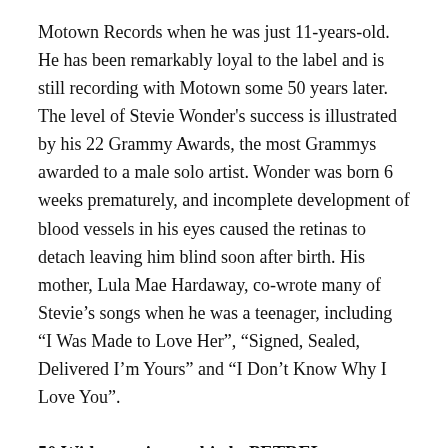Motown Records when he was just 11-years-old. He has been remarkably loyal to the label and is still recording with Motown some 50 years later. The level of Stevie Wonder's success is illustrated by his 22 Grammy Awards, the most Grammys awarded to a male solo artist. Wonder was born 6 weeks prematurely, and incomplete development of blood vessels in his eyes caused the retinas to detach leaving him blind soon after birth. His mother, Lula Mae Hardaway, co-wrote many of Stevie's songs when he was a teenager, including “I Was Made to Love Her”, “Signed, Sealed, Delivered I’m Yours” and “I Don’t Know Why I Love You”.
50 Wide-ranging seabird : PETREL
The petrel is a migratory seabird known for hovering just above the waves, with feet barely